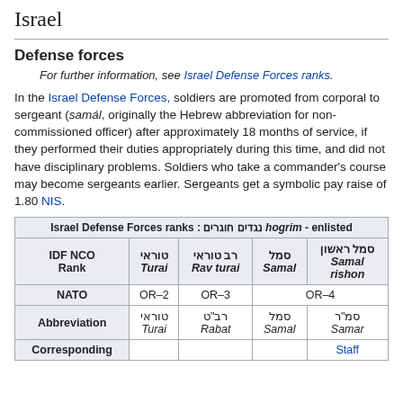Israel
Defense forces
For further information, see Israel Defense Forces ranks.
In the Israel Defense Forces, soldiers are promoted from corporal to sergeant (samál, originally the Hebrew abbreviation for non-commissioned officer) after approximately 18 months of service, if they performed their duties appropriately during this time, and did not have disciplinary problems. Soldiers who take a commander's course may become sergeants earlier. Sergeants get a symbolic pay raise of 1.80 NIS.
| IDF NCO Rank | טוראי Turai | רב טוראי Rav turai | סמל Samal | סמל ראשון Samal rishon |
| --- | --- | --- | --- | --- |
| NATO | OR–2 | OR–3 | OR–4 | OR–4 |
| Abbreviation | טוראי Turai | רב"ט Rabat | סמל Samal | סמ"ר Samar |
| Corresponding |  |  |  | Staff |